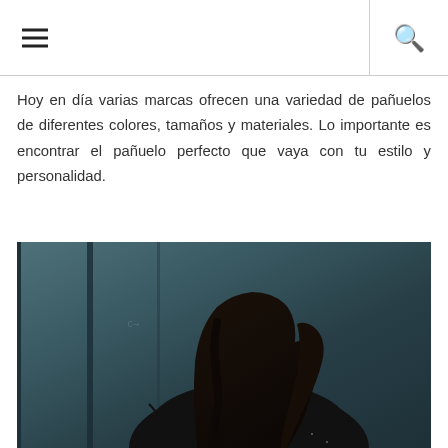≡  🔍
Hoy en día varias marcas ofrecen una variedad de pañuelos de diferentes colores, tamaños y materiales. Lo importante es encontrar el pañuelo perfecto que vaya con tu estilo y personalidad.
[Figure (photo): Woman with dark hair wearing a yellow patterned neck scarf tied as a choker, black sparkly top, looking sideways against a teal/dark wooden door background]